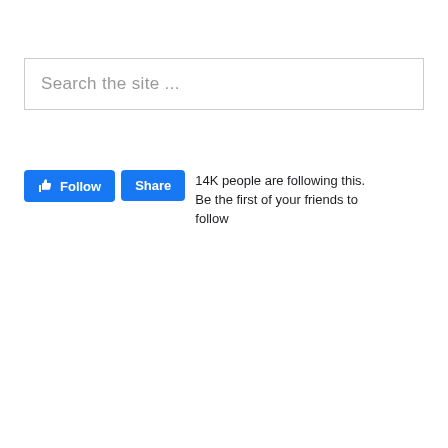Search the site ...
[Figure (screenshot): Facebook Follow and Share buttons widget with text '14K people are following this. Be the first of your friends to follow']